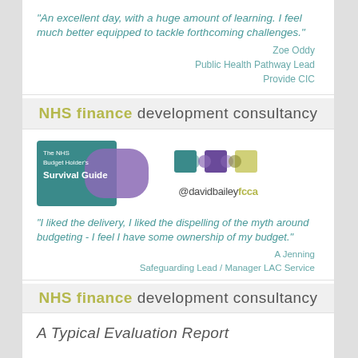“An excellent day, with a huge amount of learning. I feel much better equipped to tackle forthcoming challenges.”
Zoe Oddy
Public Health Pathway Lead
Provide CIC
NHS finance development consultancy
[Figure (logo): The NHS Budget Holder's Survival Guide book cover logo (teal and purple) alongside coloured circle icons and @davidbaileyfcca twitter handle]
“I liked the delivery, I liked the dispelling of the myth around budgeting - I feel I have some ownership of my budget.”
A Jenning
Safeguarding Lead / Manager LAC Service
NHS finance development consultancy
A Typical Evaluation Report